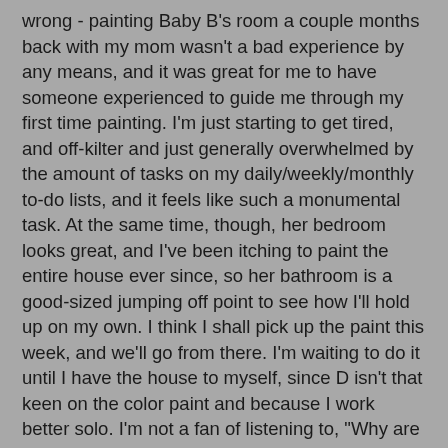wrong - painting Baby B's room a couple months back with my mom wasn't a bad experience by any means, and it was great for me to have someone experienced to guide me through my first time painting. I'm just starting to get tired, and off-kilter and just generally overwhelmed by the amount of tasks on my daily/weekly/monthly to-do lists, and it feels like such a monumental task. At the same time, though, her bedroom looks great, and I've been itching to paint the entire house ever since, so her bathroom is a good-sized jumping off point to see how I'll hold up on my own. I think I shall pick up the paint this week, and we'll go from there. I'm waiting to do it until I have the house to myself, since D isn't that keen on the color paint and because I work better solo. I'm not a fan of listening to, "Why are you doing it that way?" or "You really shouldn't be standing on that desk chair, B!" I was never one for group work, even in Kindergarten.
While we're on the topic of upcoming trips to Home Depot, we also need to install a ceiling fan in Baby B's room, and a medicine cabinet in Baby B's bathroom (once painted). One would think that if you bought a house with marble bathrooms, it might come equipped with something as